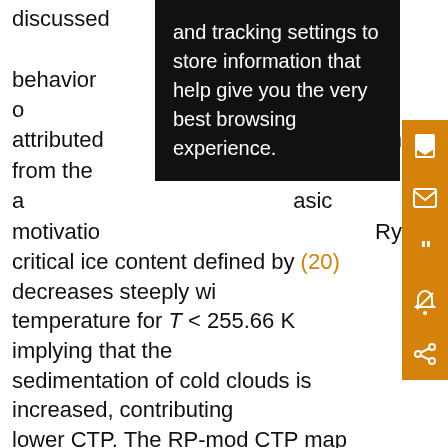discussed and tracking settings to store information that help give you the very best browsing experience. ns behavior was attributed ion from the a asic motivation Rya critical ice content defined by (20) decreases steeply with temperature for T < 255.66 K implying that the sedimentation of cold clouds is increased, contributing lower CTP. The RP-mod CTP map displayed in Fig. 10 shows that limiting k_s for cold temperature greatly improves the CTP forecast compared to both RP and GAM2. There is also a definite resemblance between RP-mod and MXP, likely related to the selection of k_s.
The virtual aircraft trajectories depicted in Fig. 11 demonstrate that the modifications to the basic MXP tend to significantly increase SLW amounts, particularly for